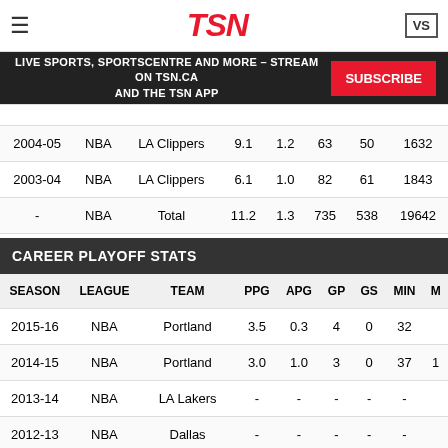TSN
LIVE SPORTS, SPORTSCENTRE AND MORE – STREAM ON TSN.CA AND THE TSN APP | SUBSCRIBE
| SEASON | LEAGUE | TEAM | PPG | APG | GP | GS | MIN |
| --- | --- | --- | --- | --- | --- | --- | --- |
| 2004-05 | NBA | LA Clippers | 9.1 | 1.2 | 63 | 50 | 1632 |
| 2003-04 | NBA | LA Clippers | 6.1 | 1.0 | 82 | 61 | 1843 |
| - | NBA | Total | 11.2 | 1.3 | 735 | 538 | 19642 |
CAREER PLAYOFF STATS
| SEASON | LEAGUE | TEAM | PPG | APG | GP | GS | MIN | M |
| --- | --- | --- | --- | --- | --- | --- | --- | --- |
| 2015-16 | NBA | Portland | 3.5 | 0.3 | 4 | 0 | 32 |  |
| 2014-15 | NBA | Portland | 3.0 | 1.0 | 3 | 0 | 37 | 1 |
| 2013-14 | NBA | LA Lakers | - | - | - | - | - |  |
| 2012-13 | NBA | Dallas | - | - | - | - | - |  |
| 2011-12 | NBA | New Orleans | - | - | - | - | - |  |